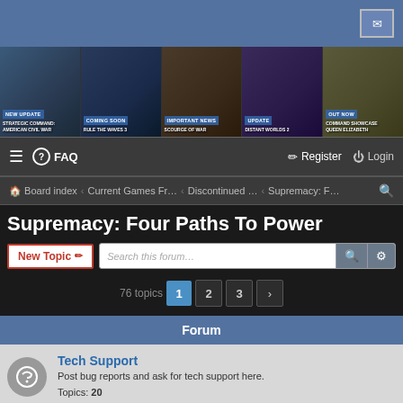Top blue banner header
[Figure (screenshot): Game thumbnails strip showing 5 game banners: NEW UPDATE - Strategic Command American Civil War, COMING SOON - Rule the Waves 3, IMPORTANT NEWS - Scourge of War, UPDATE - Distant Worlds 2, OUT NOW - Command Showcase Queen Elizabeth]
FAQ | Register | Login navigation bar
Board index > Current Games Fr... > Discontinued ... > Supremacy: F...
Supremacy: Four Paths To Power
New Topic | Search this forum...
76 topics  1  2  3  >
Forum
Tech Support
Post bug reports and ask for tech support here.
Topics: 20
Announcements